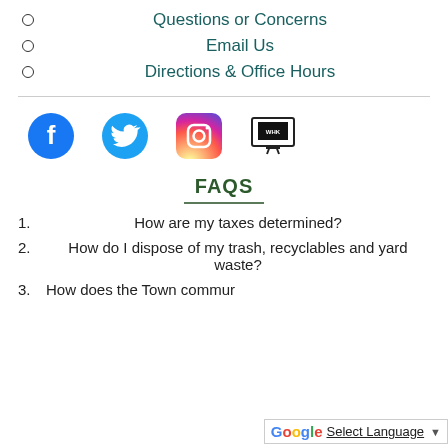Questions or Concerns
Email Us
Directions & Office Hours
[Figure (illustration): Social media icons row: Facebook, Twitter, Instagram, and a TV/web icon]
FAQS
1. How are my taxes determined?
2. How do I dispose of my trash, recyclables and yard waste?
3. How does the Town commur...